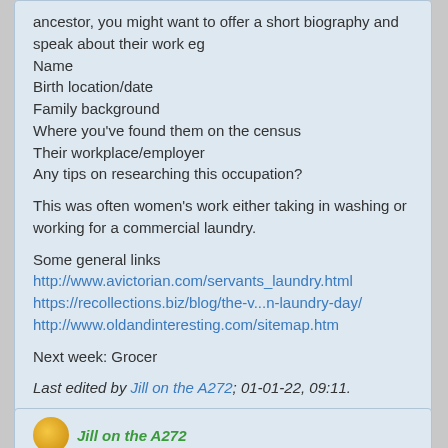ancestor, you might want to offer a short biography and speak about their work eg
Name
Birth location/date
Family background
Where you've found them on the census
Their workplace/employer
Any tips on researching this occupation?
This was often women's work either taking in washing or working for a commercial laundry.
Some general links
http://www.avictorian.com/servants_laundry.html
https://recollections.biz/blog/the-v...n-laundry-day/
http://www.oldandinteresting.com/sitemap.htm
Next week: Grocer
Last edited by Jill on the A272; 01-01-22, 09:11.
Tags: None
Jill on the A272